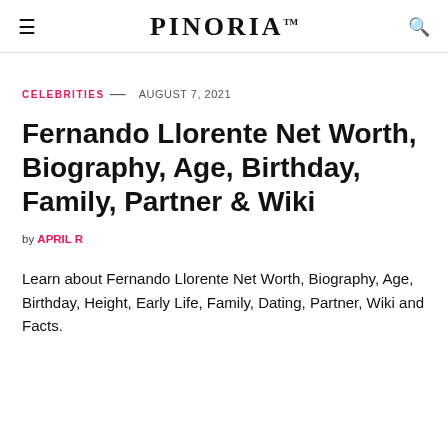PINORIA
CELEBRITIES — AUGUST 7, 2021
Fernando Llorente Net Worth, Biography, Age, Birthday, Family, Partner & Wiki
by APRIL R
Learn about Fernando Llorente Net Worth, Biography, Age, Birthday, Height, Early Life, Family, Dating, Partner, Wiki and Facts.